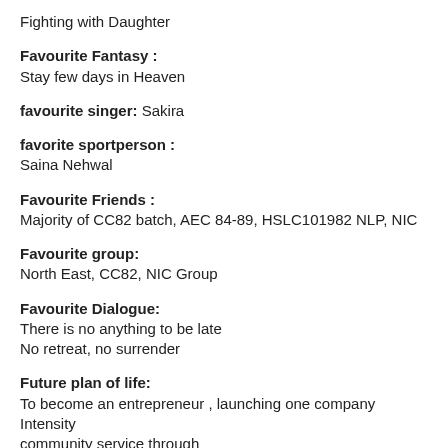Fighting with Daughter
Favourite Fantasy : Stay few days in Heaven
favourite singer: Sakira
favorite sportperson : Saina Nehwal
Favourite Friends : Majority of CC82 batch, AEC 84-89, HSLC101982 NLP, NIC
Favourite group: North East, CC82, NIC Group
Favourite Dialogue: There is no anything to be late No retreat, no surrender
Future plan of life: To become an entrepreneur , launching one company Intensity community service through